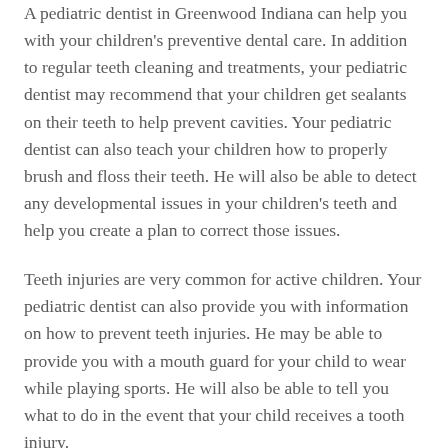A pediatric dentist in Greenwood Indiana can help you with your children's preventive dental care. In addition to regular teeth cleaning and treatments, your pediatric dentist may recommend that your children get sealants on their teeth to help prevent cavities. Your pediatric dentist can also teach your children how to properly brush and floss their teeth. He will also be able to detect any developmental issues in your children's teeth and help you create a plan to correct those issues.
Teeth injuries are very common for active children. Your pediatric dentist can also provide you with information on how to prevent teeth injuries. He may be able to provide you with a mouth guard for your child to wear while playing sports. He will also be able to tell you what to do in the event that your child receives a tooth injury.
To select a pediatric dentist in Greenwood Indiana, ask other parents you know and trust which pediatric dentist their children see. Ask these parents questions about the dentist. Does the